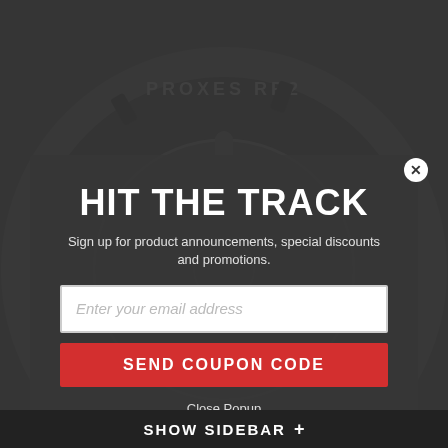[Figure (photo): Large black performance tire (Toyo Proxes RR2) with dark alloy wheel, shown at an angle on a dark background. The tire fills most of the page behind a semi-transparent modal overlay.]
HIT THE TRACK
Sign up for product announcements, special discounts and promotions.
Enter your email address
SEND COUPON CODE
Close Popup
SHOW SIDEBAR +